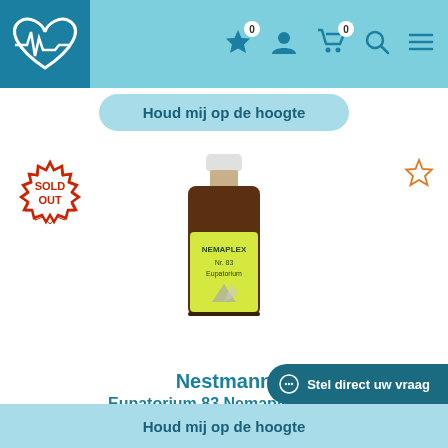[Figure (logo): Heart with ECG line logo on dark blue background]
Navigation icons: favorites (0), account, cart (0), search, menu
Houd mij op de hoogte
[Figure (illustration): SOLD OUT badge in red/white starburst]
[Figure (photo): Nestmann Eupatorium 83 Nemaplex 50ml bottle with yellow-green label]
[Figure (illustration): Star/wishlist icon (empty, orange outline)]
Nestmann Eupatorium 83 Nemaplex 50ml
€13,89  € 11,81
Stel direct uw vraag
Houd mij op de hoogte